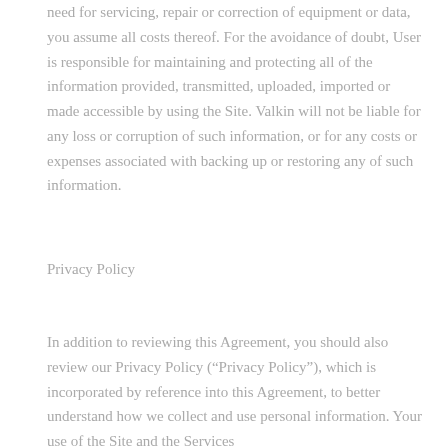need for servicing, repair or correction of equipment or data, you assume all costs thereof. For the avoidance of doubt, User is responsible for maintaining and protecting all of the information provided, transmitted, uploaded, imported or made accessible by using the Site. Valkin will not be liable for any loss or corruption of such information, or for any costs or expenses associated with backing up or restoring any of such information.
Privacy Policy
In addition to reviewing this Agreement, you should also review our Privacy Policy (“Privacy Policy”), which is incorporated by reference into this Agreement, to better understand how we collect and use personal information. Your use of the Site and the Services